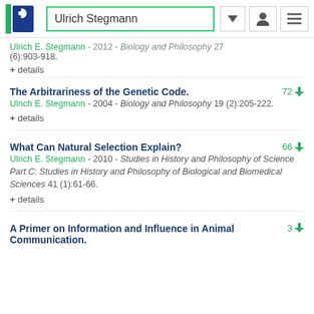Ulrich Stegmann
Ulrich E. Stegmann - 2012 - Biology and Philosophy 27 (6):903-918.
+ details
The Arbitrariness of the Genetic Code.
Ulrich E. Stegmann - 2004 - Biology and Philosophy 19 (2):205-222.
+ details
What Can Natural Selection Explain?
Ulrich E. Stegmann - 2010 - Studies in History and Philosophy of Science Part C: Studies in History and Philosophy of Biological and Biomedical Sciences 41 (1):61-66.
+ details
A Primer on Information and Influence in Animal Communication.